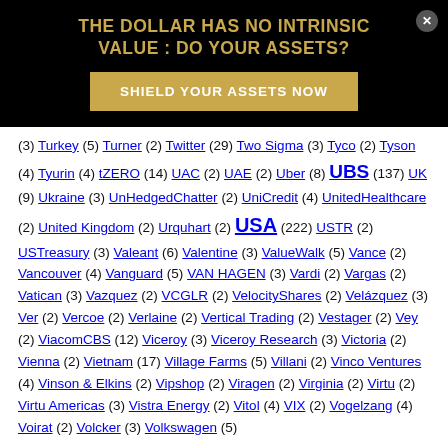[Figure (other): Advertisement banner: black background with gold text heading 'THE DOLLAR HAS NO INTRINSIC VALUE : DO YOUR ASSETS?' and a gold button 'SHIELD YOUR ASSETS NOW']
(3) Turkey (5) Turner (2) Twitter (29) Two Sigma (3) Tyco (2) Tyson (4) Tyurin (4) tZERO (14) UAC (2) UAE (2) Uber (8) UBS (137) UK (9) Ukraine (3) UnHedgedChatter (2) UniCredit (4) UnitedHealthcare (2) United Kingdom (2) Urquhart (2) USA (222) USTR (2) USTreasury (3) Valeant (6) Valentine (3) ValueWalk (5) Vance (2) Vancouver (4) Vanguard (5) VAN HAGEN (3) Vardi (2) Vargas (2) Vatican (3) Vazquez (2) VCGLR (2) VelocityShares (2) Velázquez (3) Ver (2) Vercoe (2) Verlaine (2) Vertical Trading (2) Vestager (2) Vey (2) ViacomCBS (12) Viceroy (3) Viceroy Research (3) Victoria (2) Vienna (2) Vietnam (17) Village Farms (5) Villani (2) Vinco Ventures (4) Vinson & Elkins (2) Vipshop (2) Viragen (2) Virginia (2) Virtu (2) Virtu Americas (3) Vistra Energy (2) Vitol (4) VIX (2) Vogelzang (4) Voirat (2) Volcker (3) Volkswagen (5)